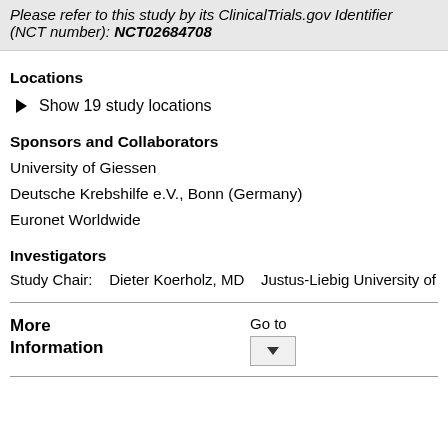Please refer to this study by its ClinicalTrials.gov Identifier (NCT number): NCT02684708
Locations
Show 19 study locations
Sponsors and Collaborators
University of Giessen
Deutsche Krebshilfe e.V., Bonn (Germany)
Euronet Worldwide
Investigators
Study Chair:    Dieter Koerholz, MD    Justus-Liebig University of Gie
More Information
Go to